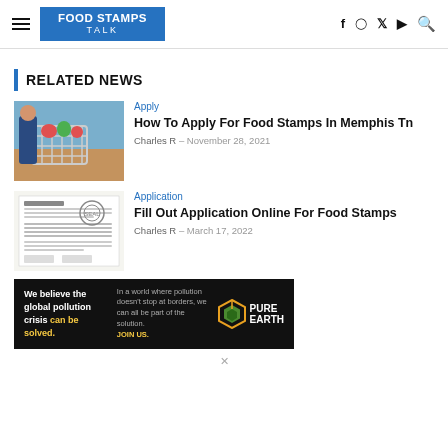Food Stamps Talk
RELATED NEWS
[Figure (photo): Person with shopping cart in grocery store]
Apply
How To Apply For Food Stamps In Memphis Tn
Charles R  -  November 28, 2021
[Figure (photo): Government food stamps application form document]
Application
Fill Out Application Online For Food Stamps
Charles R  -  March 17, 2022
[Figure (infographic): Pure Earth advertisement banner: We believe the global pollution crisis can be solved. In a world where pollution doesn't stop at borders, we can all be part of the solution. JOIN US.]